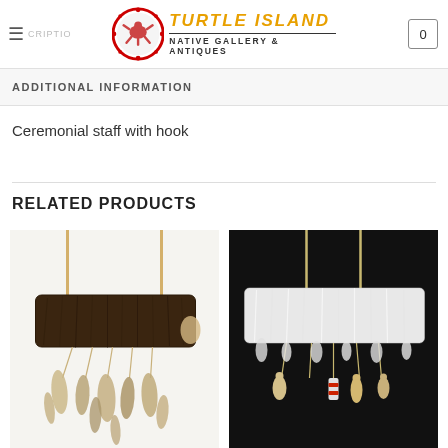[Figure (logo): Turtle Island Native Gallery & Antiques logo with circular emblem and stylized text]
ADDITIONAL INFORMATION
Ceremonial staff with hook
RELATED PRODUCTS
[Figure (photo): Dark brown fur piece on wooden sticks with feathers and beads hanging below, on white background]
[Figure (photo): White fur piece on wooden sticks with small decorative figures and red-wrapped element hanging below, on black background]